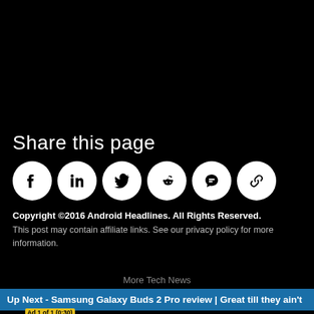Share this page
[Figure (other): Social share icons row: Facebook, LinkedIn, Twitter, Reddit, Comments/Chat, Copy link — each as white circle on black background]
Copyright ©2016 Android Headlines. All Rights Reserved.
This post may contain affiliate links. See our privacy policy for more information.
More Tech News
Up Next - Samsung Galaxy Buds 2 Pro review | Great till they ain't
Ad 1 of 1 (0:30)